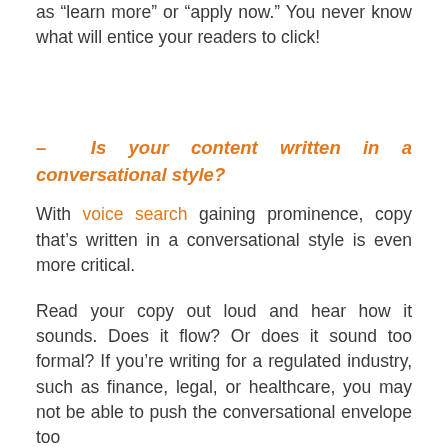as "learn more" or "apply now." You never know what will entice your readers to click!
– Is your content written in a conversational style?
With voice search gaining prominence, copy that's written in a conversational style is even more critical.
Read your copy out loud and hear how it sounds. Does it flow? Or does it sound too formal? If you're writing for a regulated industry, such as finance, legal, or healthcare, you may not be able to push the conversational envelope too